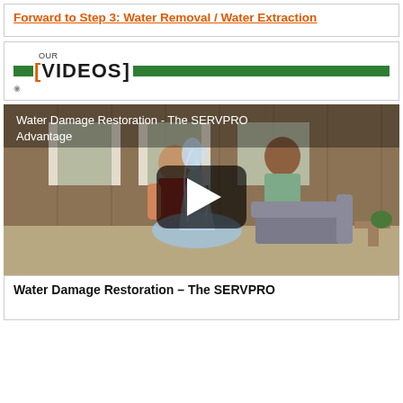Forward to Step 3: Water Removal / Water Extraction
OUR VIDEOS
[Figure (screenshot): Video thumbnail showing water damage scene with two people reacting to water bursting in a living room, with YouTube play button overlay. Title: Water Damage Restoration - The SERVPRO Advantage]
Water Damage Restoration – The SERVPRO